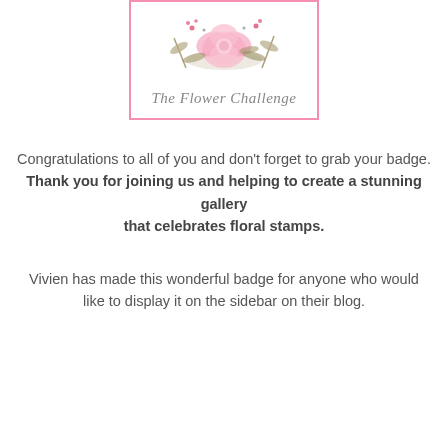[Figure (illustration): The Flower Challenge badge with watercolor pink flower and botanical elements, framed by a pink border, with cursive text 'The Flower Challenge']
Congratulations to all of you and don't forget to grab your badge.
Thank you for joining us and helping to create a stunning gallery
that celebrates floral stamps.
Vivien has made this wonderful badge for anyone who would
like to display it on the sidebar on their blog.